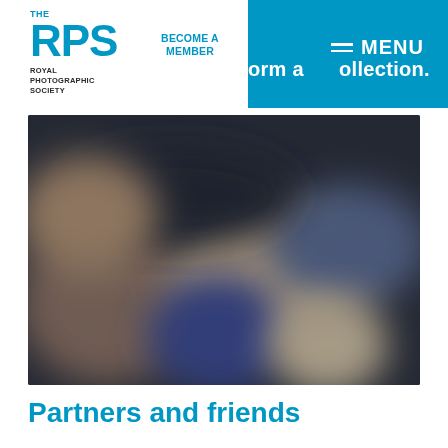THE RPS | ROYAL PHOTOGRAPHIC SOCIETY | BECOME A MEMBER | MENU
orm a   ollection.
[Figure (photo): Blurred/defocused photograph showing abstract shapes with blue, beige and dark tones. Credit: Rebecca Faith.]
CREDIT: Rebecca Faith
Partners and friends